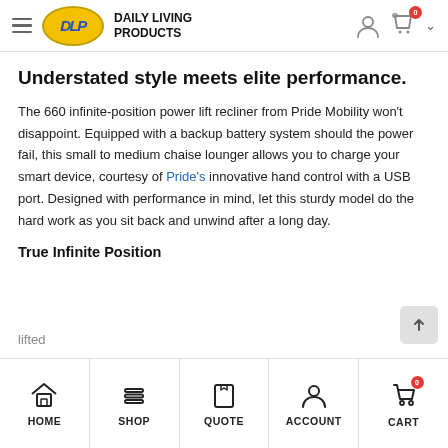Daily Living Products — navigation bar with hamburger menu, logo, user icon, cart (0), chevron
Understated style meets elite performance.
The 660 infinite-position power lift recliner from Pride Mobility won't disappoint. Equipped with a backup battery system should the power fail, this small to medium chaise lounger allows you to charge your smart device, courtesy of Pride's innovative hand control with a USB port. Designed with performance in mind, let this sturdy model do the hard work as you sit back and unwind after a long day.
True Infinite Position
HOME  SHOP  QUOTE  ACCOUNT  CART